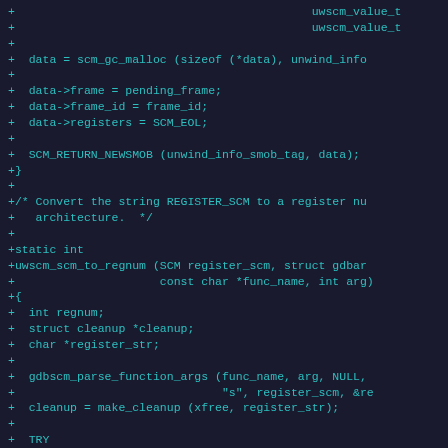Code diff showing C source additions including scm_gc_malloc, data frame assignments, SCM_RETURN_NEWSMOB, and uwscm_scm_to_regnum function definition with local variables and gdbscm_parse_function_args call.